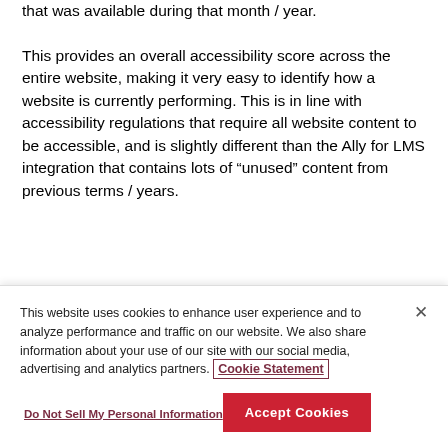that was available during that month / year.
This provides an overall accessibility score across the entire website, making it very easy to identify how a website is currently performing. This is in line with accessibility regulations that require all website content to be accessible, and is slightly different than the Ally for LMS integration that contains lots of “unused” content from previous terms / years.
This means that the statistics point from Ally for...
This website uses cookies to enhance user experience and to analyze performance and traffic on our website. We also share information about your use of our site with our social media, advertising and analytics partners. Cookie Statement
Do Not Sell My Personal Information
Accept Cookies